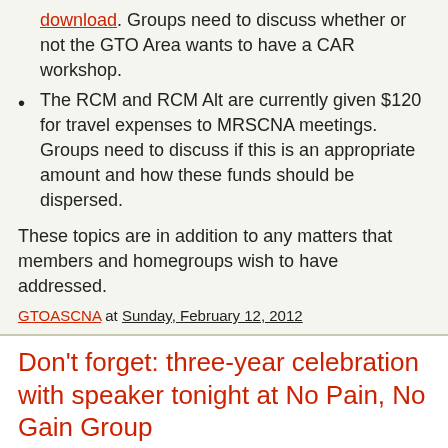download. Groups need to discuss whether or not the GTO Area wants to have a CAR workshop.
The RCM and RCM Alt are currently given $120 for travel expenses to MRSCNA meetings. Groups need to discuss if this is an appropriate amount and how these funds should be dispersed.
These topics are in addition to any matters that members and homegroups wish to have addressed.
GTOASCNA at Sunday, February 12, 2012
Don't forget: three-year celebration with speaker tonight at No Pain, No Gain Group
There will be a three-year celebration and speaker meeting tonight at 7PM at the No Pain, No Gain Group tonight at the Marshall University Campus Christian Center. Click here for directions.